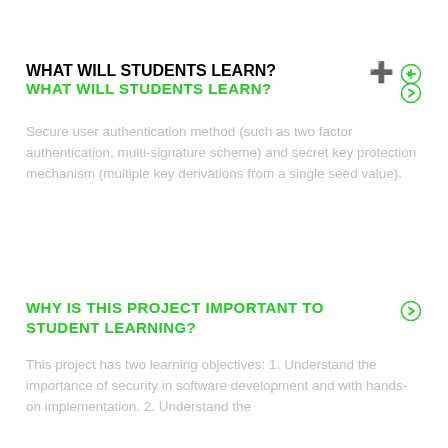WHAT WILL STUDENTS LEARN?
Secure user authentication method (such as two factor authentication, multi-signature scheme) and secret key protection mechanism (multiple key derivations from a single seed value).
WHY IS THIS PROJECT IMPORTANT TO STUDENT LEARNING?
This project has two learning objectives: 1. Understand the importance of security in software development and with hands-on implementation. 2. Understand the